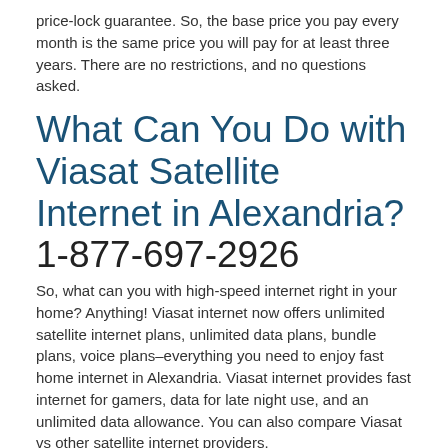price-lock guarantee. So, the base price you pay every month is the same price you will pay for at least three years. There are no restrictions, and no questions asked.
What Can You Do with Viasat Satellite Internet in Alexandria? 1-877-697-2926
So, what can you with high-speed internet right in your home? Anything! Viasat internet now offers unlimited satellite internet plans, unlimited data plans, bundle plans, voice plans–everything you need to enjoy fast home internet in Alexandria. Viasat internet provides fast internet for gamers, data for late night use, and an unlimited data allowance. You can also compare Viasat vs other satellite internet providers.